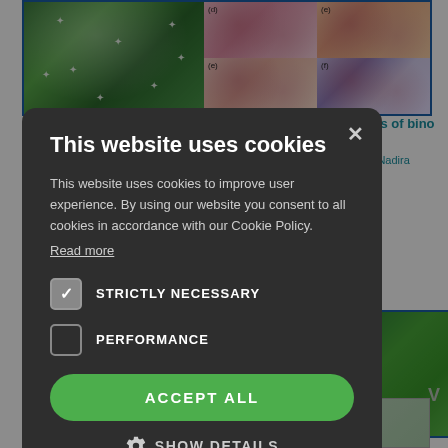[Figure (photo): Background website showing scientific article page with microscopy histology images and plant photo, partially obscured by cookie consent modal]
This website uses cookies
This website uses cookies to improve user experience. By using our website you consent to all cookies in accordance with our Cookie Policy.
Read more
STRICTLY NECESSARY
PERFORMANCE
ACCEPT ALL
SHOW DETAILS
POWERED BY COOKIE-SCRIPT